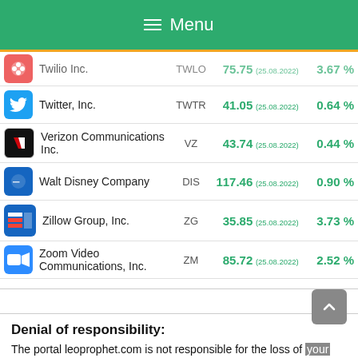Menu
| Company | Ticker | Price (Date) | Change% |
| --- | --- | --- | --- |
| Twilio Inc. | TWLO | 75.75 (25.08.2022) | 3.67 % |
| Twitter, Inc. | TWTR | 41.05 (25.08.2022) | 0.64 % |
| Verizon Communications Inc. | VZ | 43.74 (25.08.2022) | 0.44 % |
| Walt Disney Company | DIS | 117.46 (25.08.2022) | 0.90 % |
| Zillow Group, Inc. | ZG | 35.85 (25.08.2022) | 3.73 % |
| Zoom Video Communications, Inc. | ZM | 85.72 (25.08.2022) | 2.52 % |
Denial of responsibility:
The portal leoprophet.com is not responsible for the loss of your money as a result of your use of the information contained on the site, including data, quotes, charts and forecasts. Operations in the